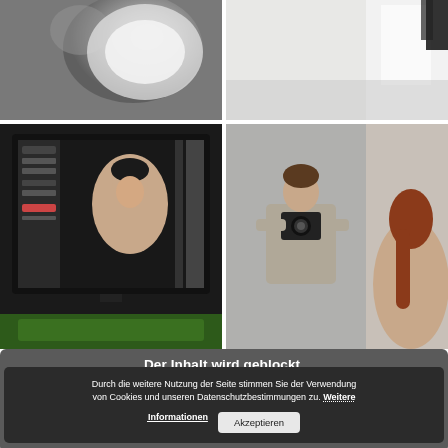[Figure (photo): Top-left photo: abstract dark and light, possibly a photography studio reflector or smoke]
[Figure (photo): Top-right photo: bright room with window and studio equipment]
[Figure (photo): Bottom-left photo: computer monitor showing photo editing software with a woman's portrait]
[Figure (photo): Bottom-right photo: photographer holding a camera and shooting, with a woman visible from behind]
Der Inhalt wird geblockt.
Durch die weitere Nutzung der Seite stimmen Sie der Verwendung von Cookies und unseren Datenschutzbestimmungen zu. Weitere Informationen Akzeptieren